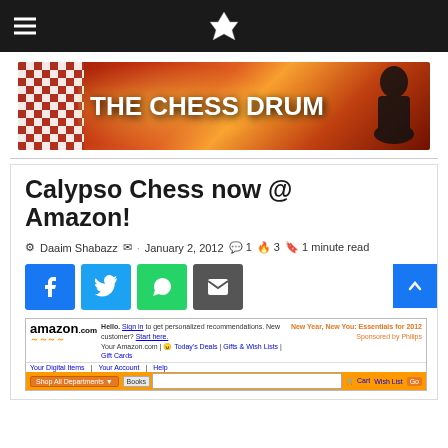The Chess Drum navigation bar with hamburger menu and logo
[Figure (illustration): The Chess Drum banner with chess board pattern on left, orange/red sunburst background, bold white text 'THE CHESS DRUM', and silhouette of chess player on right]
Calypso Chess now @ Amazon!
Daaim Shabazz · January 2, 2012 · 1 · 3 · 1 minute read
[Figure (screenshot): Social share buttons: Facebook (blue), Twitter (light blue), WhatsApp (green), Email (dark gray)]
[Figure (screenshot): Amazon.com website screenshot showing top navigation bar with logo, search box for Books, cart and wish list links, and orange shop all departments bar]